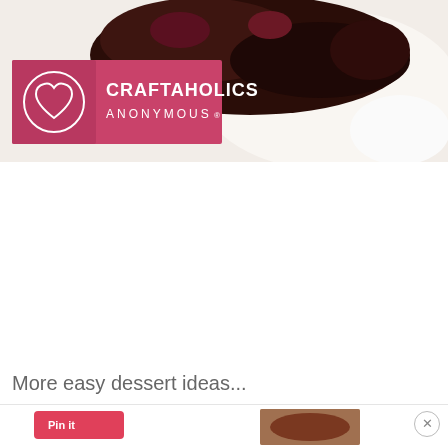[Figure (photo): Close-up food photo of dark chocolate dessert on a white plate with sauce drizzle, overlaid with Craftaholics Anonymous logo/watermark in pink]
More easy dessert ideas...
[Figure (screenshot): Bottom navigation strip with close X button circle and Pinterest-style Pin It button, partial thumbnail of dessert image]